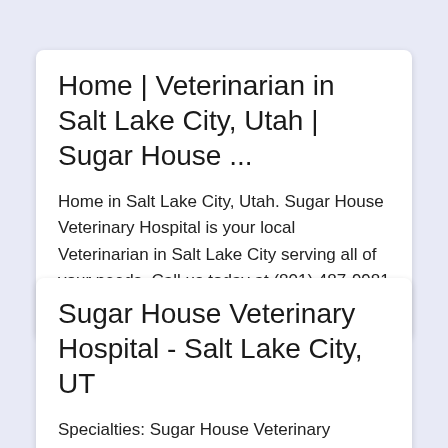Home | Veterinarian in Salt Lake City, Utah | Sugar House ...
Home in Salt Lake City, Utah. Sugar House Veterinary Hospital is your local Veterinarian in Salt Lake City serving all of your needs. Call us today at (801) 487-9981 for an appointment. More
Sugar House Veterinary Hospital - Salt Lake City, UT
Specialties: Sugar House Veterinary Hospital